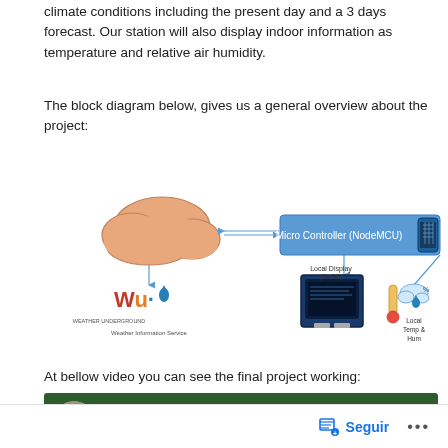climate conditions including the present day and a 3 days forecast. Our station will also display indoor information as temperature and relative air humidity.
The block diagram below, gives us a general overview about the project:
[Figure (flowchart): Block diagram showing a system with: Weather Information Service (Weather Underground / cloud icon) connected bidirectionally to Micro Controller (NodeMCU) with chip icon. NodeMCU connects down to Local Display (OLED) - an OLED screen. NodeMCU also connects down-right to Local Temp & Hum sensor (thermometer and droplet icons).]
At bellow video you can see the final project working:
[Figure (screenshot): Video thumbnail showing 'Home Weather Station' with a circular avatar photo of a person wearing a hat, on a dark green background with a three-dot menu icon.]
Seguir ...